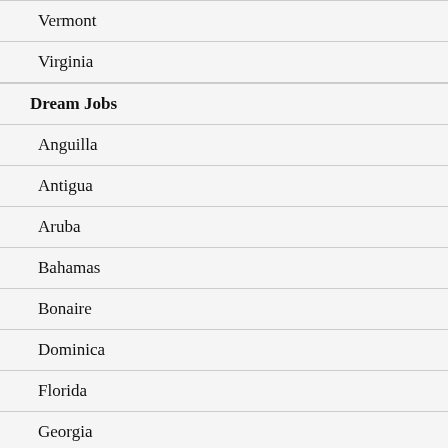Vermont
Virginia
Dream Jobs
Anguilla
Antigua
Aruba
Bahamas
Bonaire
Dominica
Florida
Georgia
Grenada
Italy